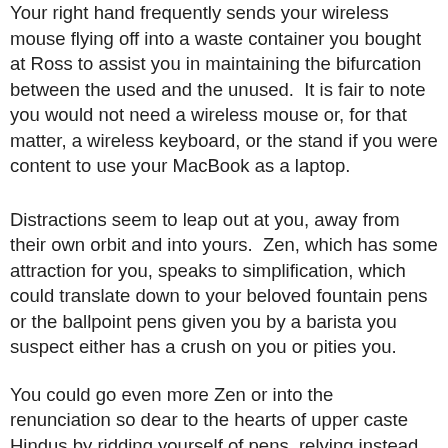Your right hand frequently sends your wireless mouse flying off into a waste container you bought at Ross to assist you in maintaining the bifurcation between the used and the unused.  It is fair to note you would not need a wireless mouse or, for that matter, a wireless keyboard, or the stand if you were content to use your MacBook as a laptop.
Distractions seem to leap out at you, away from their own orbit and into yours.  Zen, which has some attraction for you, speaks to simplification, which could translate down to your beloved fountain pens or the ballpoint pens given you by a barista you suspect either has a crush on you or pities you.
You could go even more Zen or into the renunciation so dear to the hearts of upper caste Hindus by ridding yourself of pens, relying instead on a box of Dixon Ticonderoga # 2 pencils you seem to have had